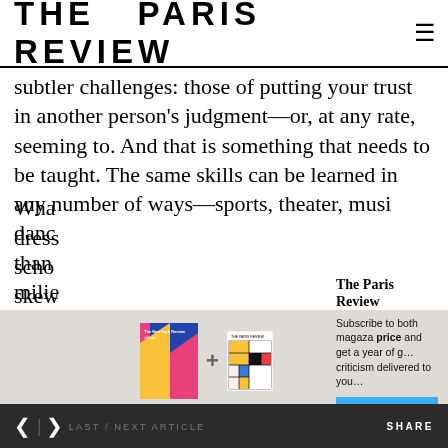THE PARIS REVIEW
subtler challenges: those of putting your trust in another person's judgment—or, at any rate, seeming to. And that is something that needs to be taught. The same skills can be learned in any number of ways—sports, theater, music, dance, than milieu
[Figure (illustration): Advertisement overlay with New York Review and Paris Review magazine covers, plus sign between them, and subscription offer text]
immediate and frankly, too bizarre. It was freeing to be
< | > LAST / NEXT ARTICLE    SHARE